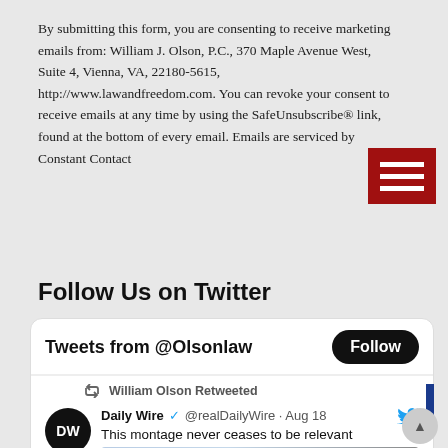By submitting this form, you are consenting to receive marketing emails from: William J. Olson, P.C., 370 Maple Avenue West, Suite 4, Vienna, VA, 22180-5615, http://www.lawandfreedom.com. You can revoke your consent to receive emails at any time by using the SafeUnsubscribe® link, found at the bottom of every email. Emails are serviced by Constant Contact
[Figure (other): Red hamburger menu icon with three white horizontal lines]
Follow Us on Twitter
[Figure (screenshot): Twitter widget showing Tweets from @Olsonlaw with a Follow button. William Olson Retweeted Daily Wire @realDailyWire Aug 18: This montage never ceases to be relevant. Below is a video thumbnail showing a bald man in front of the US Capitol building with a blue play button.]